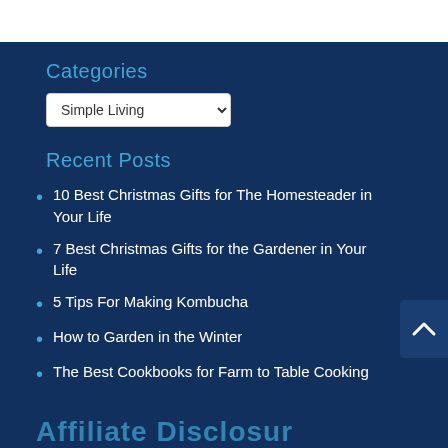Categories
Simple Living
Recent Posts
10 Best Christmas Gifts for The Homesteader in Your Life
7 Best Christmas Gifts for the Gardener in Your Life
5 Tips For Making Kombucha
How to Garden in the Winter
The Best Cookbooks for Farm to Table Cooking
Affiliate Disclosure